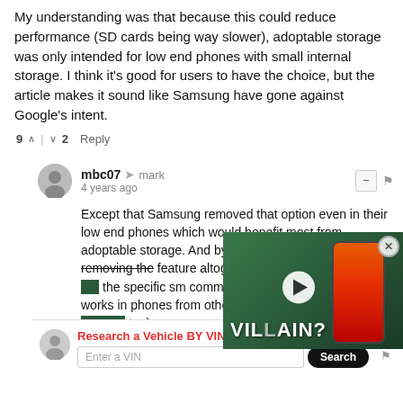My understanding was that because this could reduce performance (SD cards being way slower), adoptable storage was only intended for low end phones with small internal storage. I think it's good for users to have the choice, but the article makes it sound like Samsung have gone against Google's intent.
9 ∧ | ∨ 2   Reply
mbc07 → mark
4 years ago
Except that Samsung removed that option even in their low end phones which would benefit most from adoptable storage. And by removing I mean really removing the feature altogether, as you could not even run the specific sm commands on... works in phones from other OE... too)...
3 ∧ | ∨   Reply
[Figure (screenshot): Video overlay showing a phone with VILLAIN? text, green background, with a play button and close (x) button]
Research a Vehicle BY VIN Number  Bump  —  [flag]
Enter a VIN   Search